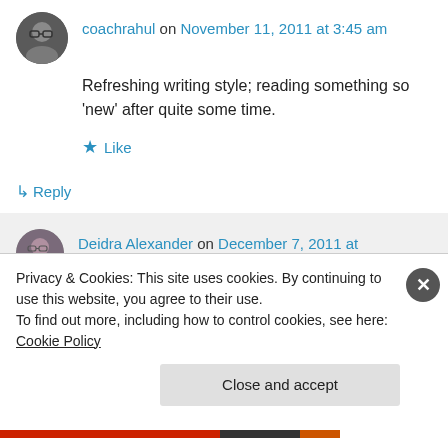coachrahul on November 11, 2011 at 3:45 am
Refreshing writing style; reading something so ‘new’ after quite some time.
★ Like
↳ Reply
Deidra Alexander on December 7, 2011 at 4:53 pm
Privacy & Cookies: This site uses cookies. By continuing to use this website, you agree to their use.
To find out more, including how to control cookies, see here: Cookie Policy
Close and accept